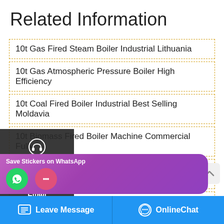Related Information
10t Gas Fired Steam Boiler Industrial Lithuania
10t Gas Atmospheric Pressure Boiler High Efficiency
10t Coal Fired Boiler Industrial Best Selling Moldavia
10t Biomass Fired Boiler Machine Commercial Fully
10t Biomass Fired Boiler Energy Saving Agent Latvia
10t Oil Boiler Machine Top Manufacturer Kazakhstan
oiler Cheap Ukraine
Leave Message   OnlineChat